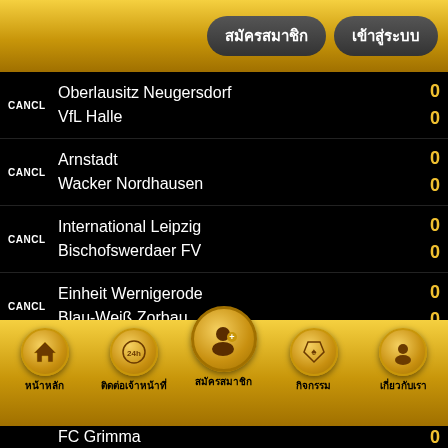สมัครสมาชิก | เข้าสู่ระบบ
CANCL | Oberlausitz Neugersdorf 0 | VfL Halle 0
CANCL | Arnstadt 0 | Wacker Nordhausen 0
CANCL | International Leipzig 0 | Bischofswerdaer FV 0
CANCL | Einheit Wernigerode 0 | Blau-Weiß Zorbau 0
CANCL | Carl Zeiss Jena II 0 | Martinroda 0
Krieschow 0
หน้าหลัก | ติดต่อเจ้าหน้าที่ | สมัครสมาชิก | กิจกรรม | เกี่ยวกับเรา
FC Grimma 0